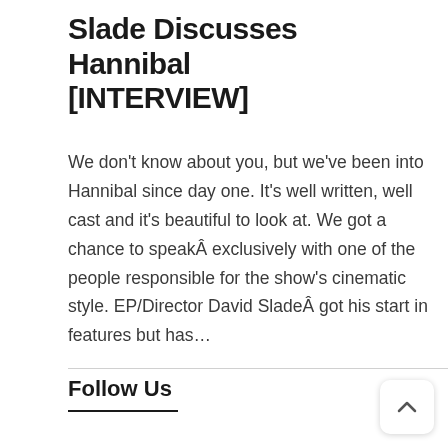Slade Discusses Hannibal [INTERVIEW]
We don't know about you, but we've been into Hannibal since day one. It's well written, well cast and it's beautiful to look at. We got a chance to speakÂ exclusively with one of the people responsible for the show's cinematic style. EP/Director David SladeÂ got his start in features but has...
Follow Us